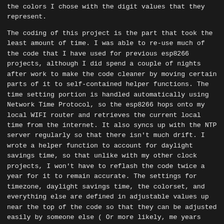the colors I chose with the digit values that they represent.
The coding of this project is the part that took the least amount of time. I was able to re-use much of the code that I have used for previous esp8266 projects, although I did spend a couple of nights after work to make the code cleaner by moving certain parts of it to self-contained helper functions. The time setting portion is handled automatically using Network Time Protocol, so the esp8266 hops onto my local WIFI router and retrieves the current local time from the internet. It also syncs up with the NTP server regularly so that there isn't much drift. I wrote a helper function to account for daylight savings time, so that unlike with my other clock projects, I won't have to reflash the code twice a year for it to remain accurate. The settings for timezone, daylight savings time, the colorset, and everything else are defined in adjustable values up near the top of the code so that they can be adjusted easily by someone else ( Or more likely, me years from now ).
The final nicety with the code is that at 8 pm every night it turns the brightness down quite a bit so that the LEDs don't garishly illuminate a dark room. After 8 am the clock sets its brightness back to daytime mode. The full code can be downloaded here, and the meat of it follows below:
[Figure (screenshot): Code block showing Quinary RGBPY LED Clock by Spike Snell 2020, with includes for NTPClient and other libraries, with links to arduino.esp8266 and github.com]